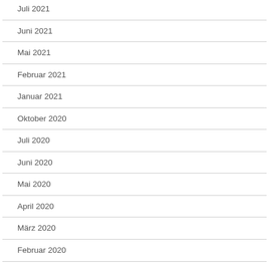Juli 2021
Juni 2021
Mai 2021
Februar 2021
Januar 2021
Oktober 2020
Juli 2020
Juni 2020
Mai 2020
April 2020
März 2020
Februar 2020
Januar 2020